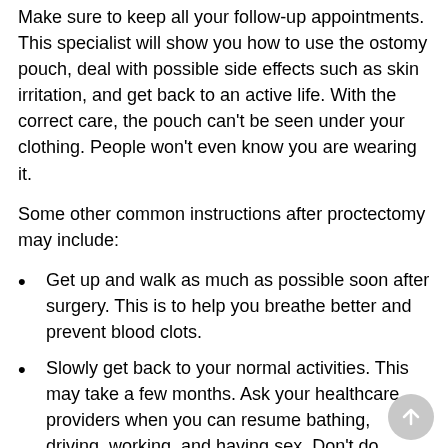Make sure to keep all your follow-up appointments. This specialist will show you how to use the ostomy pouch, deal with possible side effects such as skin irritation, and get back to an active life. With the correct care, the pouch can't be seen under your clothing. People won't even know you are wearing it.
Some other common instructions after proctectomy may include:
Get up and walk as much as possible soon after surgery. This is to help you breathe better and prevent blood clots.
Slowly get back to your normal activities. This may take a few months. Ask your healthcare providers when you can resume bathing, driving, working, and having sex. Don't do heavy lifting for at least 6 weeks.
Watch your wounds for any sign of infection. This